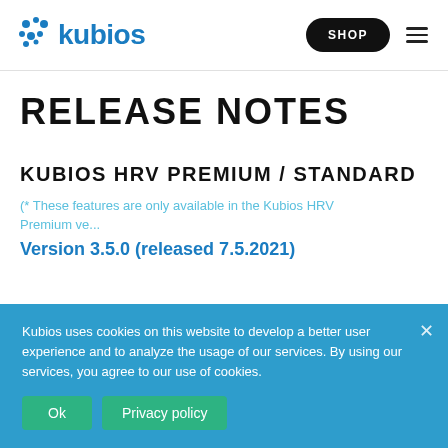kubios SHOP ☰
RELEASE NOTES
KUBIOS HRV PREMIUM / STANDARD
(* These features are only available in the Kubios HRV Premium ve...
Kubios uses cookies on this website to develop a better user experience and to analyze the usage of our services. By using our services, you agree to our use of cookies.
Ok   Privacy policy
Version 3.5.0 (released 7.5.2021)